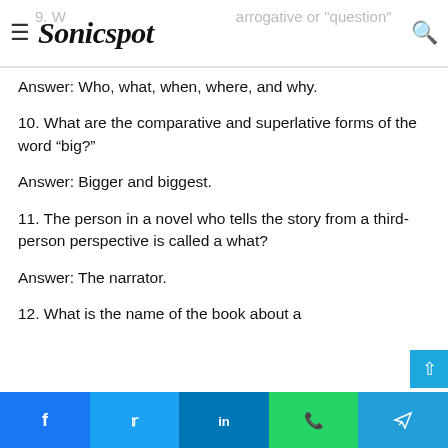Sonicspot
Answer: Who, what, when, where, and why.
10. What are the comparative and superlative forms of the word “big?”
Answer: Bigger and biggest.
11. The person in a novel who tells the story from a third-person perspective is called a what?
Answer: The narrator.
12. What is the name of the book about a